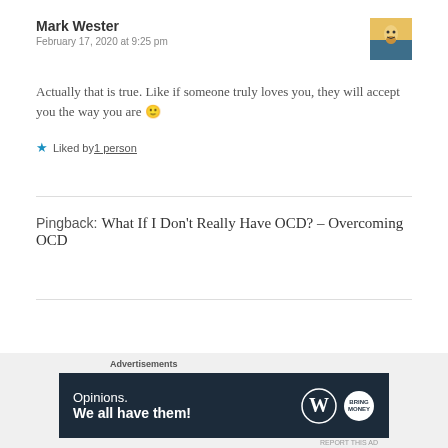Mark Wester
February 17, 2020 at 9:25 pm
Actually that is true. Like if someone truly loves you, they will accept you the way you are 🙂
★ Liked by 1 person
Pingback: What If I Don't Really Have OCD? – Overcoming OCD
Advertisements
[Figure (other): WordPress advertisement banner: 'Opinions. We all have them!' with WordPress logo and another circular logo on dark navy background]